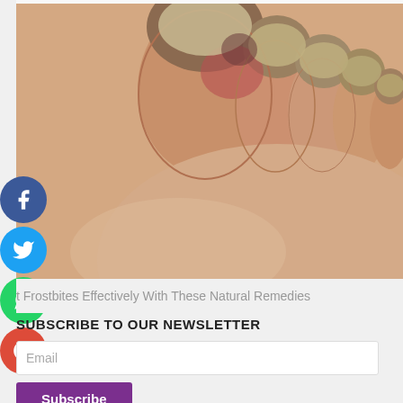[Figure (photo): Close-up photograph of toes showing signs of frostbite — swollen, discolored (reddish-brown) toes with damaged nails, against a light background.]
t Frostbites Effectively With These Natural Remedies
SUBSCRIBE TO OUR NEWSLETTER
Email
Subscribe